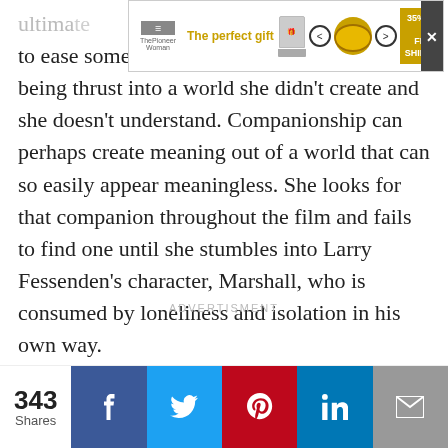[Figure (other): Advertisement banner: 'The perfect gift' with food/bowl imagery, navigation arrows, and '35% OFF + FREE SHIPPING' offer box, with close button]
ultimately at least to ease some of the pain and confusion of being thrust into a world she didn't create and she doesn't understand. Companionship can perhaps create meaning out of a world that can so easily appear meaningless. She looks for that companion throughout the film and fails to find one until she stumbles into Larry Fessenden's character, Marshall, who is consumed by loneliness and isolation in his own way.
ADVERTISMENT
343 Shares
[Figure (other): Social sharing bar with Facebook, Twitter, Pinterest, LinkedIn, and Email buttons]